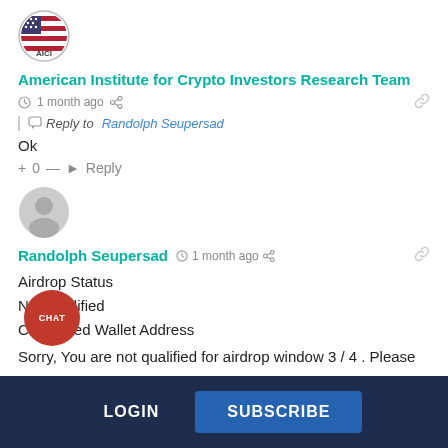[Figure (logo): AICI logo - circular badge with American flag and AICI text]
American Institute for Crypto Investors Research Team
1 month ago  |  Reply to Randolph Seupersad
Ok
+ 0 — Reply
[Figure (illustration): Generic grey user avatar circle]
Randolph Seupersad  1 month ago
Airdrop Status
Not Qualified
Connected Wallet Address
Sorry, You are not qualified for airdrop window 3 / 4 . Please
CHAT  LOGIN  SUBSCRIBE